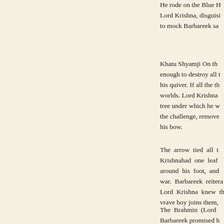He rode on the Blue H Lord Krishna, disguisi to mock Barbareek sa
Khatu Shyamji On th enough to destroy all t his quiver. If all the th worlds. Lord Krishna tree under which he w the challenge, remove his bow.
The arrow tied all t Krishnahad one leaf around his foot, and war. Barbareek reitera Lord Krishna knew th vrave boy joins them,
The Brahmin (Lord Barbareek promised h to give his head in cha promise. He request Krishna showed him h
He explained to Barba Kshatriya needs to be his head in charity.